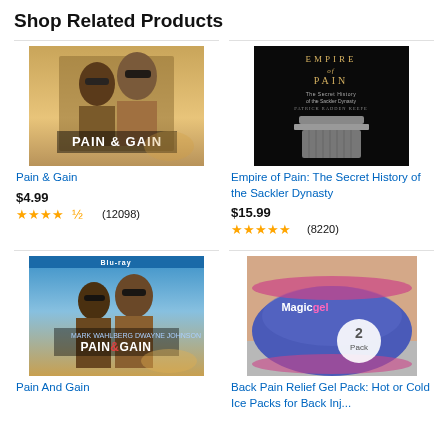Shop Related Products
[Figure (photo): Pain & Gain movie cover - two men in sunglasses]
Pain & Gain
$4.99
★★★★½ (12098)
[Figure (photo): Empire of Pain book cover - dark background with column]
Empire of Pain: The Secret History of the Sackler Dynasty
$15.99
★★★★★ (8220)
[Figure (photo): Pain And Gain Blu-ray cover]
Pain And Gain
[Figure (photo): Back pain relief gel pack - blue wrap with MagicGel branding, 2 Pack]
Back Pain Relief Gel Pack: Hot or Cold Ice Packs for Back Inj...